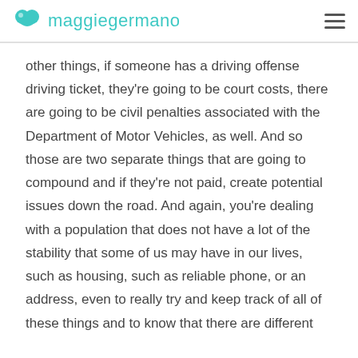maggiegermano
other things, if someone has a driving offense driving ticket, they're going to be court costs, there are going to be civil penalties associated with the Department of Motor Vehicles, as well. And so those are two separate things that are going to compound and if they're not paid, create potential issues down the road. And again, you're dealing with a population that does not have a lot of the stability that some of us may have in our lives, such as housing, such as reliable phone, or an address, even to really try and keep track of all of these things and to know that there are different